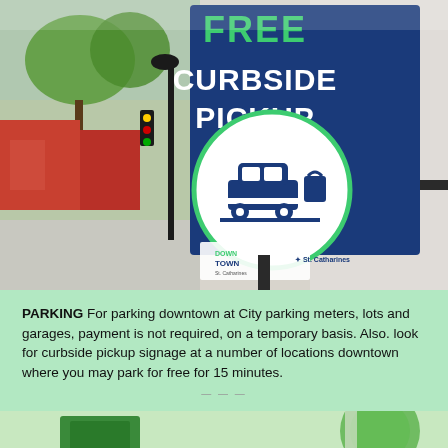[Figure (photo): Outdoor street photo showing a blue sign reading 'FREE CURBSIDE PICKUP' with a car icon, Downtown St. Catharines and City logos, mounted on a post on a downtown street with trees and storefronts visible.]
PARKING  For parking downtown at City parking meters, lots and garages, payment is not required, on a temporary basis. Also. look for curbside pickup signage at a number of locations downtown where you may park for free for 15 minutes.
[Figure (photo): Partial photo at bottom showing what appears to be a green-colored curbside pickup bag or package on a surface.]